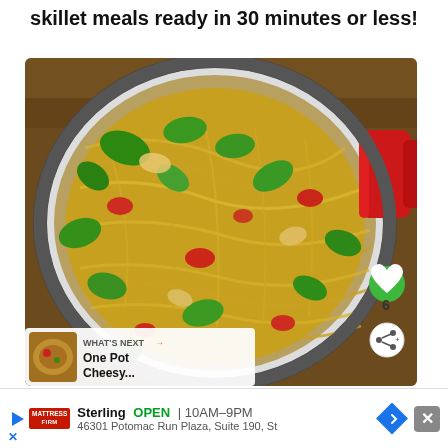skillet meals ready in 30 minutes or less!
[Figure (photo): Overhead photo of a white skillet with red handle containing pasta linguine with chicken, spinach leaves, and tomatoes]
6
WHAT'S NEXT → One Pot Cheesy...
Sterling  OPEN  10AM–9PM  46301 Potomac Run Plaza, Suite 190, St